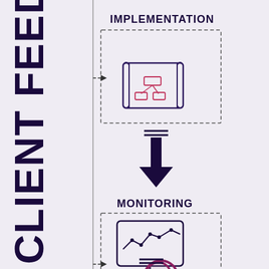[Figure (flowchart): A workflow diagram showing CLIENT FEEDBACK text rotated vertically on the left side, with two steps visible: IMPLEMENTATION (top, with a blueprint/network diagram icon in a dashed box) and MONITORING (bottom, with a monitor/analytics icon in a dashed box). Dashed horizontal arrows point from a vertical line to each box. A thick dark downward arrow connects IMPLEMENTATION to MONITORING. Horizontal lines appear below each section indicating continuation.]